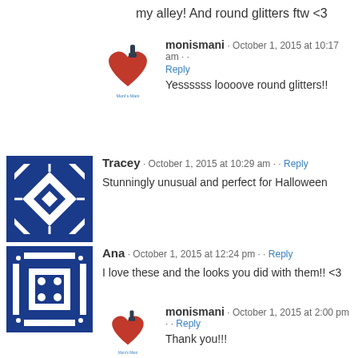my alley! And round glitters ftw <3
monismani · October 1, 2015 at 10:17 am · · Reply
Yessssss loooove round glitters!!
Tracey · October 1, 2015 at 10:29 am · · Reply
Stunningly unusual and perfect for Halloween
Ana · October 1, 2015 at 12:24 pm · · Reply
I love these and the looks you did with them!! <3
monismani · October 1, 2015 at 2:00 pm · · Reply
Thank you!!!